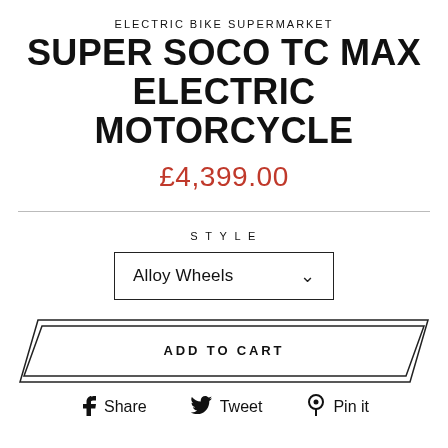ELECTRIC BIKE SUPERMARKET
SUPER SOCO TC MAX ELECTRIC MOTORCYCLE
£4,399.00
STYLE
Alloy Wheels
ADD TO CART
Share  Tweet  Pin it